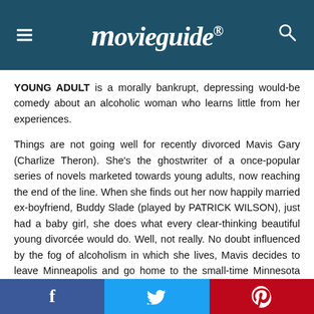movieguide®
YOUNG ADULT is a morally bankrupt, depressing would-be comedy about an alcoholic woman who learns little from her experiences.
Things are not going well for recently divorced Mavis Gary (Charlize Theron). She's the ghostwriter of a once-popular series of novels marketed towards young adults, now reaching the end of the line. When she finds out her now happily married ex-boyfriend, Buddy Slade (played by PATRICK WILSON), just had a baby girl, she does what every clear-thinking beautiful young divorcée would do. Well, not really. No doubt influenced by the fog of alcoholism in which she lives, Mavis decides to leave Minneapolis and go home to the small-time Minnesota town in which she grew up to split up Buddy's marriage and win him back, because, she claims, they were always meant to be
f  Twitter  Pinterest